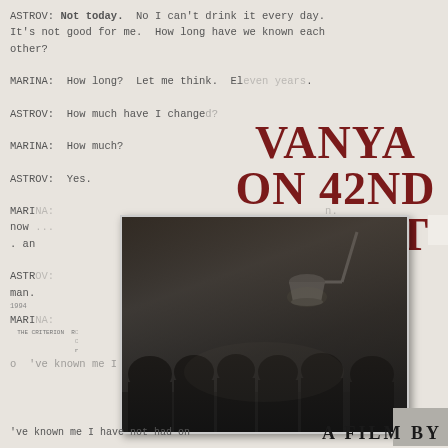ASTROV: Not today. No I can't drink it every day.
It's not good for me. How long have we known each
other?

MARINA: How long? Let me think. Eleven years.

ASTROV: How much have I changed?

MARINA: How much?

ASTROV: Yes.

MARINA: [partial, obscured by photo]
now ...
. an

ASTROV: [partial]
man.

MARINA: [partial]

[bottom] 've known me I have not had on...
VANYA ON 42ND STREET
[Figure (photo): Black and white photograph of six people (actors) seated around a table under a hanging lamp in a dimly lit room. The group appears to be in a rehearsal or performance setting.]
A FILM BY
've known me I have not had on